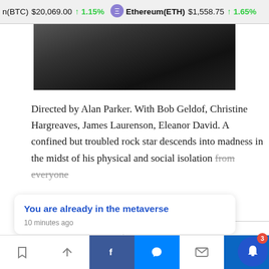n(BTC) $20,069.00 ↑ 1.15%   Ethereum(ETH) $1,558.75 ↑ 1.65%
[Figure (photo): Black and white cropped photo, dark background]
Directed by Alan Parker. With Bob Geldof, Christine Hargreaves, James Laurenson, Eleanor David. A confined but troubled rock star descends into madness in the midst of his physical and social isolation from everyone.
Source:
Thank you for visiting. You can now buy me a coffee!
Continue reading →
You are already in the metaverse
10 minutes ago